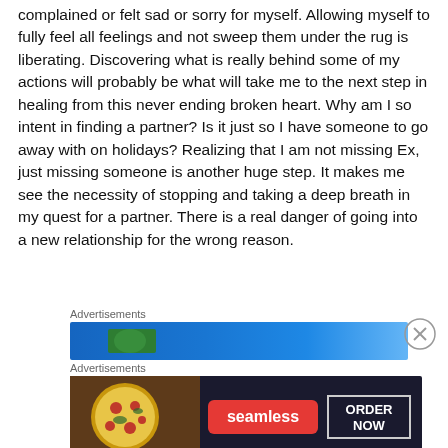complained or felt sad or sorry for myself.  Allowing myself to fully feel all feelings and not sweep them under the rug is liberating.   Discovering what is really behind some of my actions will probably be what will take me to the next step in healing from this never ending broken heart.  Why am I so intent in finding a partner?  Is it just so I have someone to go away with on holidays?  Realizing that I am not missing Ex, just missing someone is another huge step.  It makes me see the necessity of stopping and taking a deep breath in my quest for a partner. There is a real danger of going into a new relationship for the wrong reason.
Advertisements
[Figure (other): Blue gradient advertisement banner with a green element]
Advertisements
[Figure (other): Seamless food delivery advertisement showing pizza with ORDER NOW button]